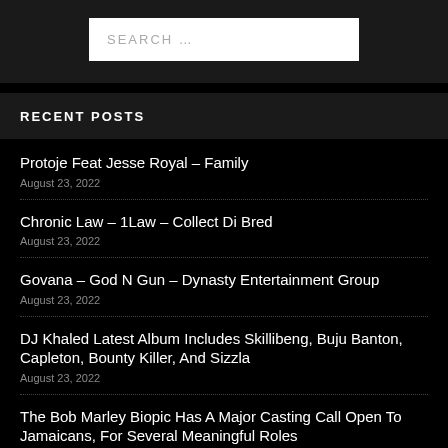SEARCH …
RECENT POSTS
Protoje Feat Jesse Royal – Family
August 23, 2022
Chronic Law – 1Law – Collect Di Bred
August 23, 2022
Govana – God N Gun – Dynasty Entertainment Group
August 23, 2022
DJ Khaled Latest Album Includes Skillibeng, Buju Banton, Capleton, Bounty Killer, And Sizzla
August 23, 2022
The Bob Marley Biopic Has A Major Casting Call Open To Jamaicans, For Several Meaningful Roles